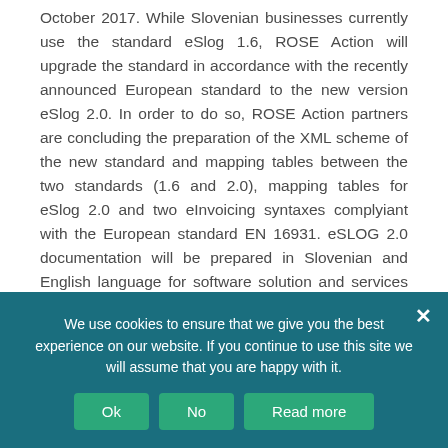October 2017. While Slovenian businesses currently use the standard eSlog 1.6, ROSE Action will upgrade the standard in accordance with the recently announced European standard to the new version eSlog 2.0. In order to do so, ROSE Action partners are concluding the preparation of the XML scheme of the new standard and mapping tables between the two standards (1.6 and 2.0), mapping tables for eSlog 2.0 and two eInvoicing syntaxes complyiant with the European standard EN 16931. eSLOG 2.0 documentation will be prepared in Slovenian and English language for software solution and services providers to enable integration of the new eSLOG standard into their solutions.
We use cookies to ensure that we give you the best experience on our website. If you continue to use this site we will assume that you are happy with it.